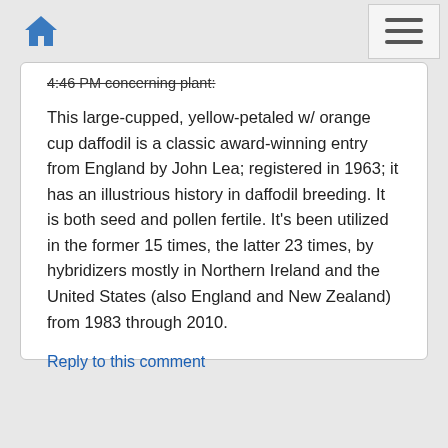4:46 PM concerning plant:
This large-cupped, yellow-petaled w/ orange cup daffodil is a classic award-winning entry from England by John Lea; registered in 1963; it has an illustrious history in daffodil breeding. It is both seed and pollen fertile. It's been utilized in the former 15 times, the latter 23 times, by hybridizers mostly in Northern Ireland and the United States (also England and New Zealand) from 1983 through 2010.
Reply to this comment